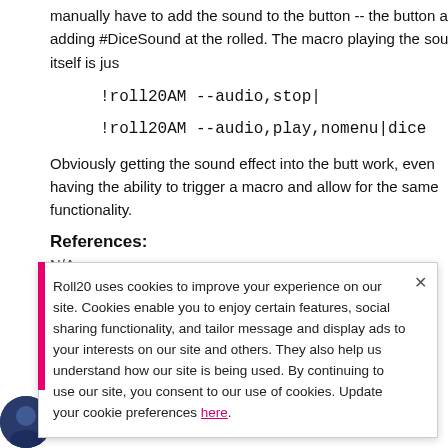manually have to add the sound to the button -- the button and then adding #DiceSound at the rolled. The macro playing the sound itself is jus
!roll20AM --audio,stop|
!roll20AM --audio,play,nomenu|dice
Obviously getting the sound effect into the butt work, even having the ability to trigger a macro and allow for the same functionality.
References:
N/A
Roll20 uses cookies to improve your experience on our site. Cookies enable you to enjoy certain features, social sharing functionality, and tailor message and display ads to your interests on our site and others. They also help us understand how our site is being used. By continuing to use our site, you consent to our use of cookies. Update your cookie preferences here.
Thanks so much for your efforts on this. I must because after following your instructions, if I cli